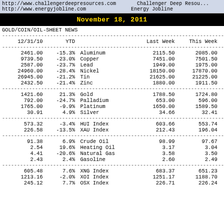http://www.challengerdeepresources.com  Challenger Deep Resources
http://www.energyjobline.com  Energy Jobline
November 18, 2011
| 12/31/10 | YTD |  | Last Week | This Week | Change | Perc |
| --- | --- | --- | --- | --- | --- | --- |
| 2461.00 | -15.3% | Aluminum | 2115.50 | 2085.00 | -30.50 | -1 |
| 9739.50 | -23.0% | Copper | 7451.00 | 7501.50 | 50.50 | 0 |
| 2587.00 | -23.7% | Lead | 1949.00 | 1975.00 | 26.00 | 1 |
| 24960.00 | -28.4% | Nickel | 18150.00 | 17870.00 | -280.00 | -1 |
| 26945.00 | -21.2% | Tin | 21625.00 | 21225.00 | -400.00 | -1 |
| 2432.50 | -21.4% | Zinc | 1880.00 | 1911.50 | 31.50 | 1 |
| 1421.60 | 21.3% | Gold | 1788.50 | 1724.80 | -63.70 | -3 |
| 792.00 | -24.7% | Palladium | 653.00 | 596.00 | -57.00 | -8 |
| 1765.00 | -9.9% | Platinum | 1650.00 | 1589.50 | -60.50 | -3 |
| 30.91 | 4.9% | Silver | 34.66 | 32.41 | -2.25 | -6 |
| 573.32 | -3.4% | HUI Index | 603.66 | 553.74 | -49.92 | -8 |
| 226.58 | -13.5% | XAU Index | 212.43 | 196.04 | -16.39 | -7 |
| 91.38 | 6.9% | Crude Oil | 98.99 | 97.67 | -1.32 | -1 |
| 2.54 | 19.6% | Heating Oil | 3.17 | 3.04 | -0.13 | -4 |
| 4.41 | -20.6% | Natural Gas | 3.58 | 3.50 | -0.09 | -2 |
| 2.43 | 2.4% | Gasoline | 2.60 | 2.49 | -0.12 | -4 |
| 605.48 | 7.6% | XNG Index | 683.37 | 651.23 | -32.14 | -4 |
| 1213.16 | -2.0% | XOI Index | 1251.17 | 1188.70 | -62.47 | -5 |
| 245.12 | 7.7% | OSX Index | 226.71 | 226.24 | -10.27 |  |